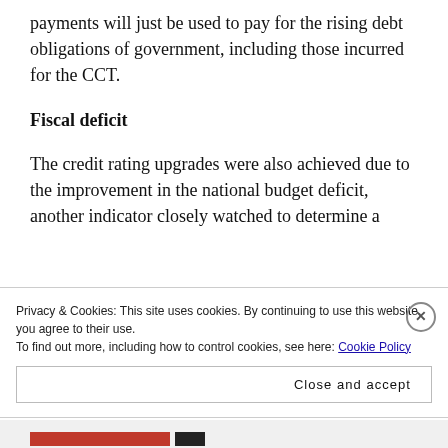payments will just be used to pay for the rising debt obligations of government, including those incurred for the CCT.
Fiscal deficit
The credit rating upgrades were also achieved due to the improvement in the national budget deficit, another indicator closely watched to determine a
Privacy & Cookies: This site uses cookies. By continuing to use this website, you agree to their use.
To find out more, including how to control cookies, see here: Cookie Policy